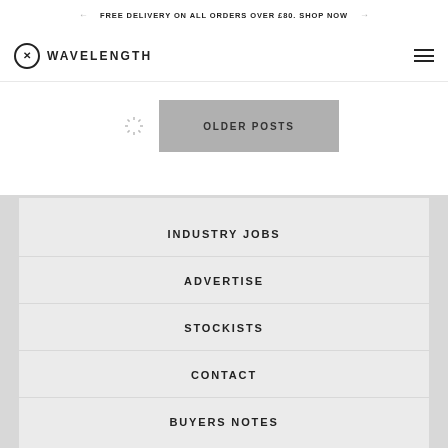FREE DELIVERY ON ALL ORDERS OVER £80. SHOP NOW
WAVELENGTH
OLDER POSTS
INDUSTRY JOBS
ADVERTISE
STOCKISTS
CONTACT
BUYERS NOTES